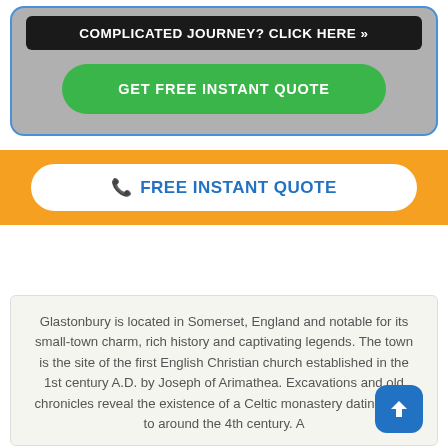[Figure (screenshot): Black banner with white uppercase text: COMPLICATED JOURNEY? CLICK HERE »]
[Figure (screenshot): Green rounded button with white text: GET FREE INSTANT QUOTE]
[Figure (screenshot): Orange banner with white pill button containing blue phone icon and blue text: FREE INSTANT QUOTE]
Glastonbury is located in Somerset, England and notable for its small-town charm, rich history and captivating legends. The town is the site of the first English Christian church established in the 1st century A.D. by Joseph of Arimathea. Excavations and old chronicles reveal the existence of a Celtic monastery dating back to around the 4th century. A